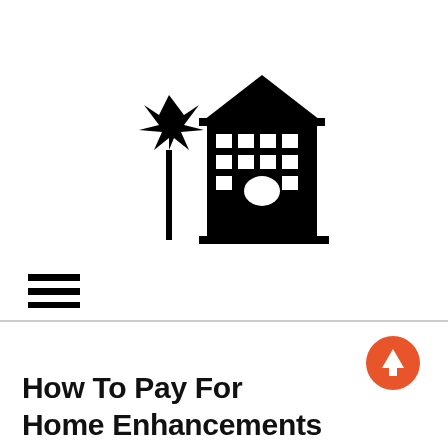[Figure (logo): Black silhouette icon of a government/institutional building with a domed roof and windows, with a palm tree to its left, on a white background.]
[Figure (other): Hamburger menu icon — three horizontal black lines stacked vertically, aligned to the left.]
[Figure (other): Orange circle with a white upward-pointing arrow inside, positioned to the right side below the divider line.]
How To Pay For Home Enhancements